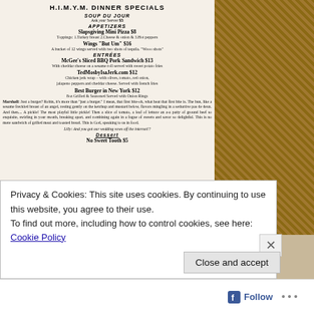H.I.M.Y.M. DINNER SPECIALS
SOUP DU JOUR
Ask your Server $5
APPETIZERS
SLAPSGIVING MINI PIZZA $8
Toppings: 1.Turkey breast 2.Cheese & onion & 3.Hot peppers
WINGS "BUT UM" $16
A bucket of 12 wings served with two shots of tequila. "Wooo shots"
ENTRÉES
MCGEE'S SLICED BBQ PORK SANDWICH $13
With cheddar cheese on a sesame roll served with sweet potato fries
TEDMOSBYISAJERK.COM $12
Chicken jerk wrap – with olives, tomato, red onion, jalapeno peppers and cheddar cheese. Served with french fries
BEST BURGER IN NEW YORK $12
8oz Grilled & Seasoned Served with Onion Rings
Marshall: Just a burger? Robin, it's more than "just a burger." I mean, that first bite-oh, what heat that first bite is. The bun, like a sesame freckled breast of an angel, resting gently on the ketchup and mustard below, flavors mingling in a seductive pas de deux. And then.... A pickle! The most playful little pickle! Then a slice of tomato, a leaf of lettuce an a-a patty of ground beef so exquisite, swirling in your mouth, breaking apart, and combining again in a fugue of sweets and savor so delightful. This is no mere sandwich of grilled meat and toasted bread. This is God, speaking to us in food.
Lilly: And you got our wedding vows off the internet!?
DESSERT
NO SWEET TOOTH $5
Privacy & Cookies: This site uses cookies. By continuing to use this website, you agree to their use.
To find out more, including how to control cookies, see here: Cookie Policy
Close and accept
Follow